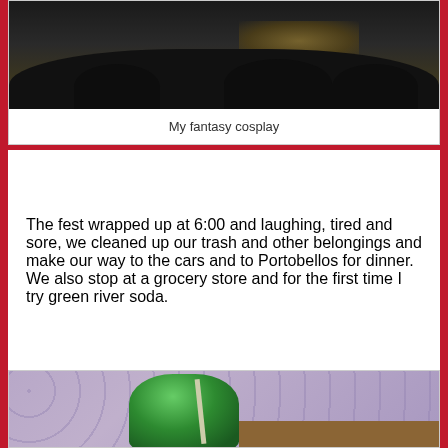[Figure (photo): Dark photo of a crowd or audience silhouetted against a dimly lit background, likely at a festival or cosplay event]
My fantasy cosplay
The fest wrapped up at 6:00 and laughing, tired and sore, we cleaned up our trash and other belongings and make our way to the cars and to Portobellos for dinner. We also stop at a grocery store and for the first time I try green river soda.
[Figure (photo): Photo of a green drink (green river soda) in a glass with a straw, on a table with a patterned tablecloth]